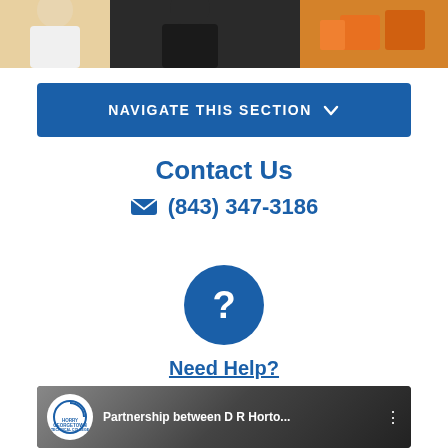[Figure (photo): Top portion of photo showing people in what appears to be a workshop or lab setting]
NAVIGATE THIS SECTION ⌄
Contact Us
✉ (843) 347-3186
[Figure (illustration): Blue circle with white question mark icon]
Need Help?
[Figure (screenshot): Video thumbnail for 'Partnership between D R Horto...' with Horry Georgetown Technical College logo overlay]